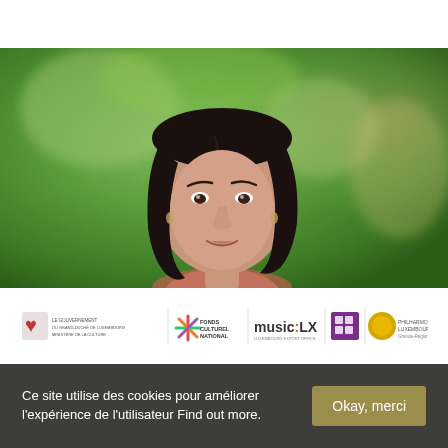[Figure (photo): Portrait photo of a woman with dark hair against a green blurred outdoor background]
[Figure (logo): Row of sponsor/partner logos: Luxembourg government lion logo, Fonds Culturel National logo, music:LX Luxembourg Export Office logo, two additional sponsor logos]
Ce site utilise des cookies pour améliorer l'expérience de l'utilisateur Find out more.
Okay, merci